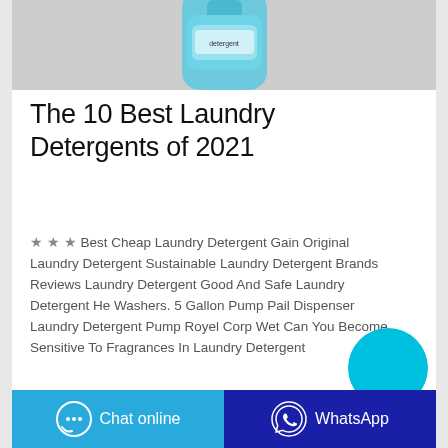[Figure (photo): Partial view of a blue laundry detergent bottle on a light grey background, cropped at the top of the page]
The 10 Best Laundry Detergents of 2021
★★★ Best Cheap Laundry Detergent Gain Original Laundry Detergent Sustainable Laundry Detergent Brands Reviews Laundry Detergent Good And Safe Laundry Detergent He Washers. 5 Gallon Pump Pail Dispenser Laundry Detergent Pump Royel Corp Wet Can You Become Sensitive To Fragrances In Laundry Detergent
[Figure (illustration): Cyan/turquoise circle floating button on the right side]
Contact the manufacturer
WhatsApp
Chat online
WhatsApp